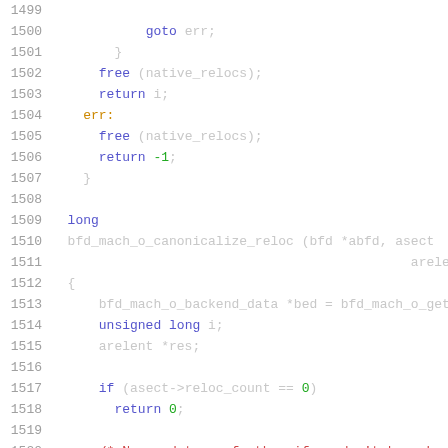Code listing lines 1499–1520, C source code showing bfd_mach_o_canonicalize_reloc function